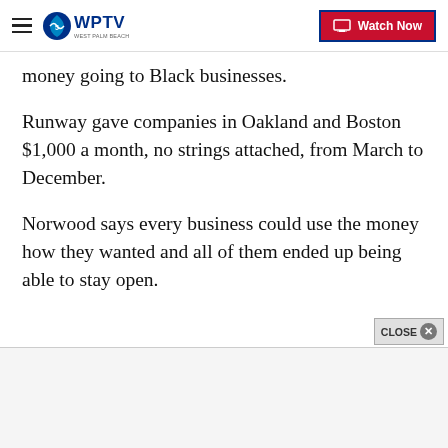WPTV - Watch Now
money going to Black businesses.
Runway gave companies in Oakland and Boston $1,000 a month, no strings attached, from March to December.
Norwood says every business could use the money how they wanted and all of them ended up being able to stay open.
Along with the money, they also received business